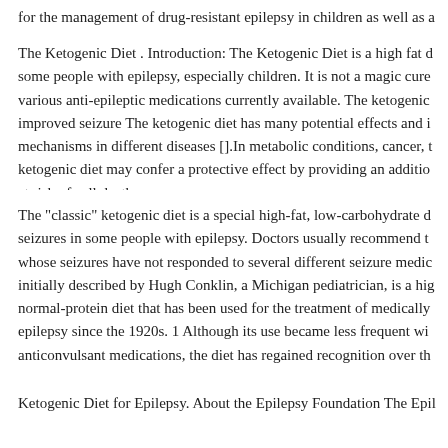for the management of drug-resistant epilepsy in children as well as a
The Ketogenic Diet . Introduction: The Ketogenic Diet is a high fat diet for some people with epilepsy, especially children. It is not a magic cure various anti-epileptic medications currently available. The ketogenic improved seizure The ketogenic diet has many potential effects and its mechanisms in different diseases [].In metabolic conditions, cancer, the ketogenic diet may confer a protective effect by providing an additional at risk of cell death.
The "classic" ketogenic diet is a special high-fat, low-carbohydrate diet seizures in some people with epilepsy. Doctors usually recommend this whose seizures have not responded to several different seizure medications initially described by Hugh Conklin, a Michigan pediatrician, is a high normal-protein diet that has been used for the treatment of medically epilepsy since the 1920s. 1 Although its use became less frequent with anticonvulsant medications, the diet has regained recognition over the
Ketogenic Diet for Epilepsy. About the Epilepsy Foundation The Epilepsy